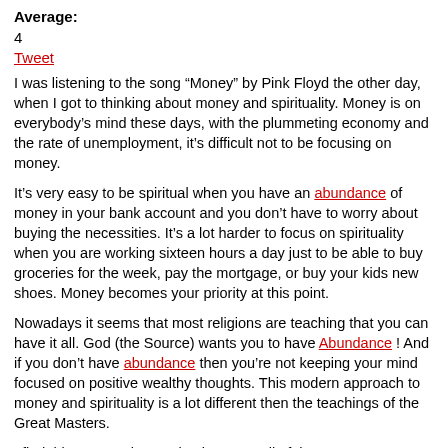Average:
4
Tweet
I was listening to the song “Money” by Pink Floyd the other day, when I got to thinking about money and spirituality. Money is on everybody’s mind these days, with the plummeting economy and the rate of unemployment, it’s difficult not to be focusing on money.
It’s very easy to be spiritual when you have an abundance of money in your bank account and you don’t have to worry about buying the necessities. It’s a lot harder to focus on spirituality when you are working sixteen hours a day just to be able to buy groceries for the week, pay the mortgage, or buy your kids new shoes. Money becomes your priority at this point.
Nowadays it seems that most religions are teaching that you can have it all. God (the Source) wants you to have Abundance ! And if you don’t have abundance then you’re not keeping your mind focused on positive wealthy thoughts. This modern approach to money and spirituality is a lot different then the teachings of the Great Masters.
I find this concept interesting because all of the Great Masters from Jesus to Buddha have seen that earthly wealth as a desire and attachment are detrimental to spiritual growth .
So who is right?